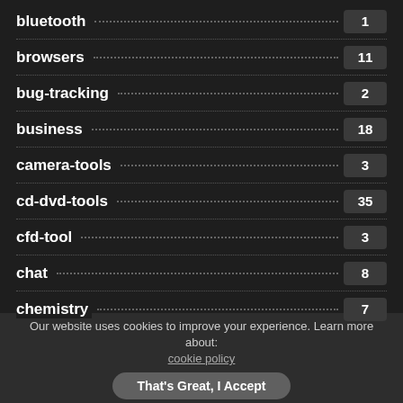bluetooth · · · · · · · · · · · · · · · · · · · · · · · · · · · · · · · · · · · · · · · · · · · 1
browsers · · · · · · · · · · · · · · · · · · · · · · · · · · · · · · · · · · · · · · · · · · · 11
bug-tracking · · · · · · · · · · · · · · · · · · · · · · · · · · · · · · · · · · · · · · · · 2
business · · · · · · · · · · · · · · · · · · · · · · · · · · · · · · · · · · · · · · · · · · 18
camera-tools · · · · · · · · · · · · · · · · · · · · · · · · · · · · · · · · · · · · · · · 3
cd-dvd-tools · · · · · · · · · · · · · · · · · · · · · · · · · · · · · · · · · · · · · · · 35
cfd-tool · · · · · · · · · · · · · · · · · · · · · · · · · · · · · · · · · · · · · · · · · · 3
chat · · · · · · · · · · · · · · · · · · · · · · · · · · · · · · · · · · · · · · · · · · · · 8
chemistry · · · · · · · · · · · · · · · · · · · · · · · · · · · · · · · · · · · · · · · · · 7
Our website uses cookies to improve your experience. Learn more about: cookie policy
That's Great, I Accept